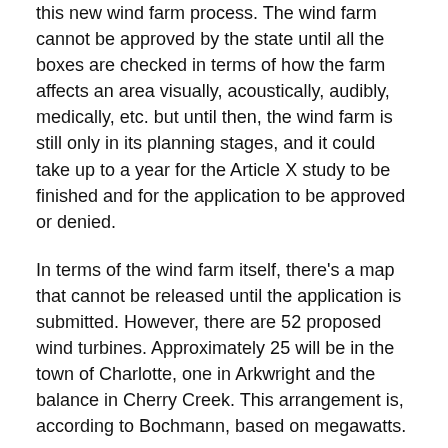this new wind farm process. The wind farm cannot be approved by the state until all the boxes are checked in terms of how the farm affects an area visually, acoustically, audibly, medically, etc. but until then, the wind farm is still only in its planning stages, and it could take up to a year for the Article X study to be finished and for the application to be approved or denied.
In terms of the wind farm itself, there's a map that cannot be released until the application is submitted. However, there are 52 proposed wind turbines. Approximately 25 will be in the town of Charlotte, one in Arkwright and the balance in Cherry Creek. This arrangement is, according to Bochmann, based on megawatts.
Despite the promising evaluations mandated by Article X, Riggle remains unconvinced.